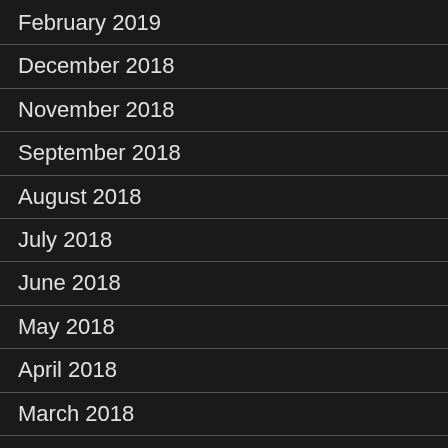February 2019
December 2018
November 2018
September 2018
August 2018
July 2018
June 2018
May 2018
April 2018
March 2018
January 2018
December 2017
November 2017